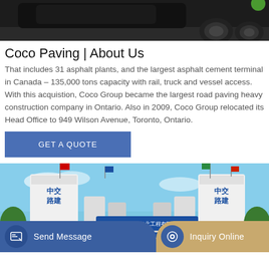[Figure (photo): Top portion of a dark/black vehicle with tires on a garage floor]
Coco Paving | About Us
That includes 31 asphalt plants, and the largest asphalt cement terminal in Canada – 135,000 tons capacity with rail, truck and vessel access. With this acquistion, Coco Group became the largest road paving heavy construction company in Ontario. Also in 2009, Coco Group relocated its Head Office to 949 Wilson Avenue, Toronto, Ontario.
[Figure (other): Blue button labeled GET A QUOTE]
[Figure (photo): Chinese construction company cement mixing facility with two large white silos labeled with Chinese characters 中交路建, a blue sign reading 中交路桥华北工程有限公司, and blue sign reading 3号拌合站]
[Figure (other): Bottom navigation bar with Send Message button on blue background and Inquiry Online button on tan/gold background]